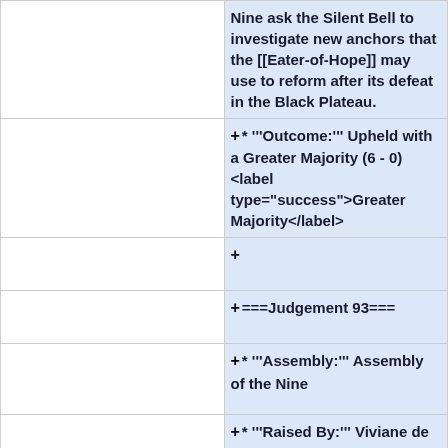Nine ask the Silent Bell to investigate new anchors that the [[Eater-of-Hope]] may use to reform after its defeat in the Black Plateau.
* '''Outcome:''' Upheld with a Greater Majority (6 - 0) <label type="success">Greater Majority</label>
+
===Judgement 93===
* '''Assembly:''' Assembly of the Nine
* '''Raised By:''' Viviane de Coeurdefer
* '''Judgement:''' Synod ...